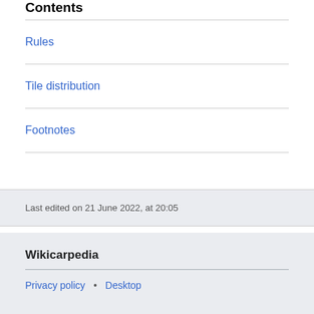Contents
Rules
Tile distribution
Footnotes
Last edited on 21 June 2022, at 20:05
Wikicarpedia
Privacy policy • Desktop